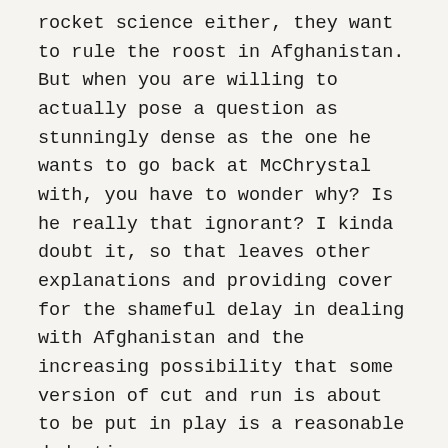rocket science either, they want to rule the roost in Afghanistan. But when you are willing to actually pose a question as stunningly dense as the one he wants to go back at McChrystal with, you have to wonder why? Is he really that ignorant? I kinda doubt it, so that leaves other explanations and providing cover for the shameful delay in dealing with Afghanistan and the increasing possibility that some version of cut and run is about to be put in play is a reasonable deduction.
I didn't think that with all the posturing and big talk there was any chance they would start the bailout this early, but I have to say it sure looks like it. If so